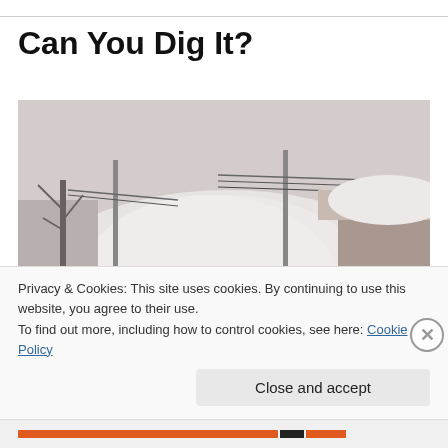Can You Dig It?
[Figure (photo): A heavy snowfall scene showing massive snow drifts piled up between utility poles and a house roof heavily laden with snow. Bare trees visible on the left. Black and white / desaturated photo.]
Privacy & Cookies: This site uses cookies. By continuing to use this website, you agree to their use.
To find out more, including how to control cookies, see here: Cookie Policy
Close and accept